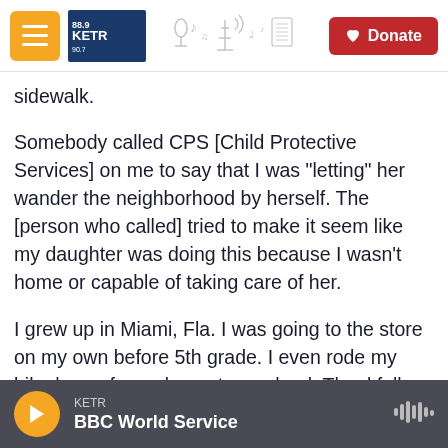KETR radio station navigation header with hamburger menu, KETR logo, decorative icons, and Donate button
sidewalk.
Somebody called CPS [Child Protective Services] on me to say that I was "letting" her wander the neighborhood by herself. The [person who called] tried to make it seem like my daughter was doing this because I wasn't home or capable of taking care of her.
I grew up in Miami, Fla. I was going to the store on my own before 5th grade. I even rode my bike home from elementary school. Thankfully, CPS was understanding after talking with us, but it was
KETR — BBC World Service (audio player bar)